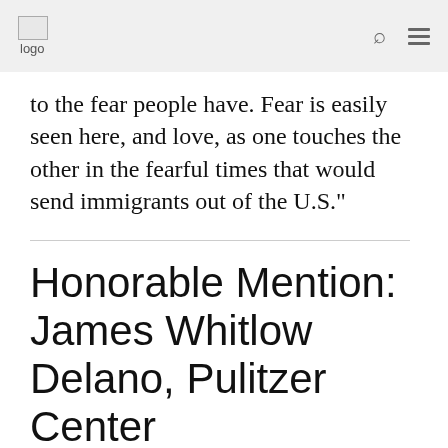logo
to the fear people have. Fear is easily seen here, and love, as one touches the other in the fearful times that would send immigrants out of the U.S."
Honorable Mention: James Whitlow Delano, Pulitzer Center